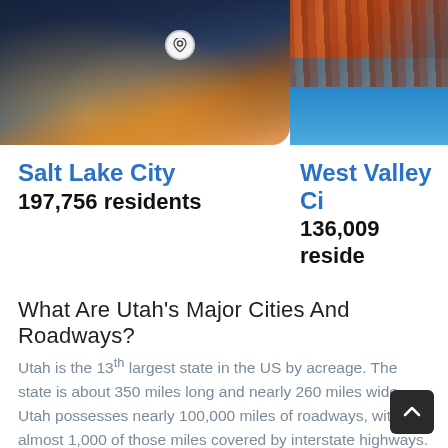[Figure (photo): Aerial night view of Salt Lake City with city lights and mountains]
[Figure (photo): Red rock canyon with water, West Valley City area]
Salt Lake City
197,756 residents
West Valley Ci…
136,009 reside…
What Are Utah's Major Cities And Roadways?
Utah is the 13th largest state in the US by acreage. The state is about 350 miles long and nearly 260 miles wide. Utah possesses nearly 100,000 miles of roadways, with almost 1,000 of those miles covered by interstate highways. The longest highway in the state, I-5, goes north/south through Salt Lake City as it runs between the border with Idaho and the border with Arizona. I-80 also goes through Salt Lake City, travelling east/west between Nevada and Wyoming. I-84 runs a loop around Salt Lake City, and I-70 extends from I-15 and into Colorado as it runs east/west in the southern portion